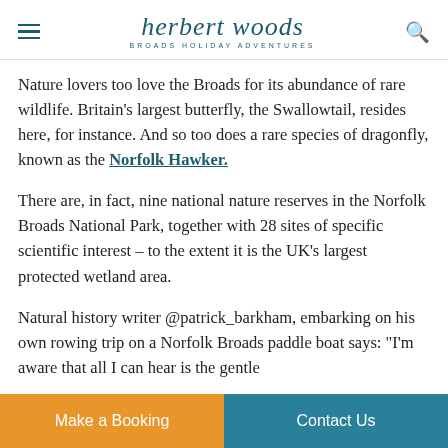herbert woods BROADS HOLIDAY ADVENTURES
Nature lovers too love the Broads for its abundance of rare wildlife. Britain’s largest butterfly, the Swallowtail, resides here, for instance. And so too does a rare species of dragonfly, known as the Norfolk Hawker.
There are, in fact, nine national nature reserves in the Norfolk Broads National Park, together with 28 sites of specific scientific interest – to the extent it is the UK’s largest protected wetland area.
Natural history writer @patrick_barkham, embarking on his own rowing trip on a Norfolk Broads paddle boat says: “I’m aware that all I can hear is the gentle
Make a Booking    Contact Us